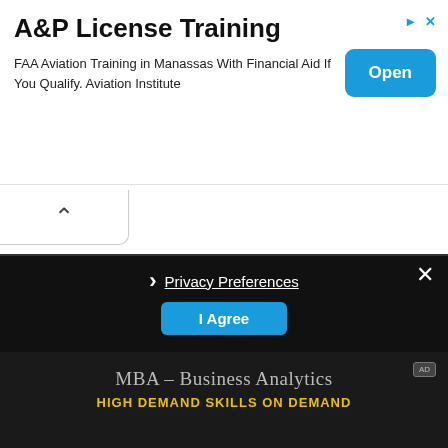[Figure (screenshot): Advertisement banner: 'A&P License Training' with text 'FAA Aviation Training in Manassas With Financial Aid If You Qualify. Aviation Institute' and a blue 'Open' button on the right.]
[Figure (logo): The Burgundy Zine logo in large bold dark red/burgundy block lettering on white background.]
@ BURGUNDY ZINE
[Figure (screenshot): Privacy consent overlay on dark background with 'Privacy Preferences' link and 'I Agree' button in blue, and a close (X) button.]
[Figure (screenshot): Advertisement at bottom: 'MBA – Business Analytics' and 'HIGH DEMAND SKILLS ON DEMAND' on dark background.]